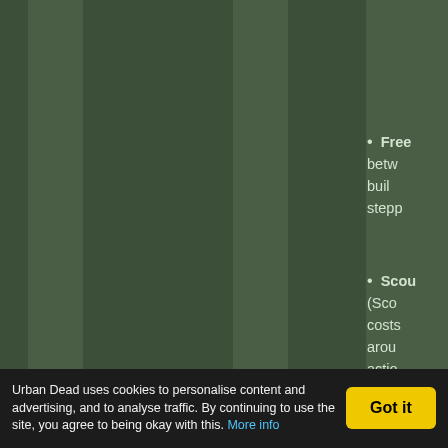[Figure (screenshot): Urban Dead game interface screenshot showing a dark olive/green themed webpage with a grid layout. Left portion shows a multi-column table structure with muted green columns. A 'Died: 1048 times' stat row is visible near the bottom of the table area. Right side shows a partially visible bullet-point list with items starting with 'Free', 'Scou', and 'Necr' (truncated by page edge).]
Died:
1048 times
Free betw buil stepp
Scou (Sco costs arou actio buil the p buil
Necr (Play DNA ident offic
Urban Dead uses cookies to personalise content and advertising, and to analyse traffic. By continuing to use the site, you agree to being okay with this. More info
Got it